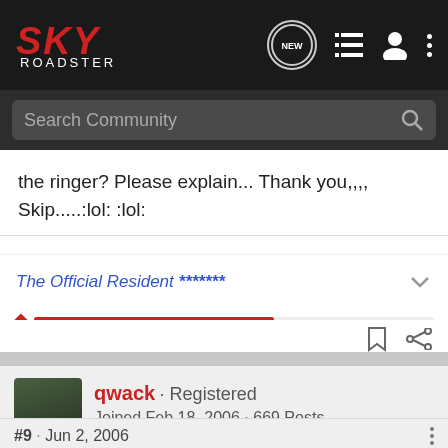[Figure (screenshot): Sky Roadster forum navigation bar with logo, search, and icons]
the ringer? Please explain... Thank you,,,, Skip.....:lol: :lol:
The Official Resident *******
qwack · Registered
Joined Feb 18, 2006 · 669 Posts
#9 · Jun 2, 2006